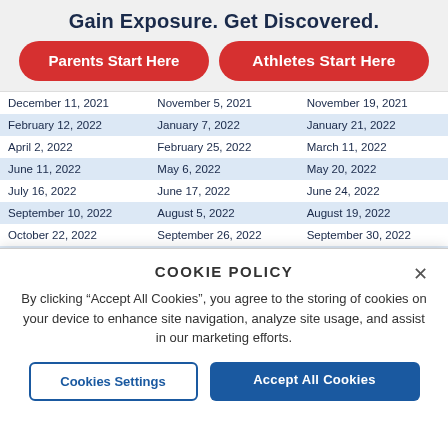Gain Exposure. Get Discovered.
Parents Start Here
Athletes Start Here
| December 11, 2021 | November 5, 2021 | November 19, 2021 |
| February 12, 2022 | January 7, 2022 | January 21, 2022 |
| April 2, 2022 | February 25, 2022 | March 11, 2022 |
| June 11, 2022 | May 6, 2022 | May 20, 2022 |
| July 16, 2022 | June 17, 2022 | June 24, 2022 |
| September 10, 2022 | August 5, 2022 | August 19, 2022 |
| October 22, 2022 | September 26, 2022 | September 30, 2022 |
| December 10, 2022 | November 4, 2022 | November 18, 2022 |
| February 11, 2023 | January 6, 2023 | January 20, 2023 |
| April 1, 2023 | February 24, 2023 | March 10, 2023 |
COOKIE POLICY
By clicking “Accept All Cookies”, you agree to the storing of cookies on your device to enhance site navigation, analyze site usage, and assist in our marketing efforts.
Cookies Settings
Accept All Cookies